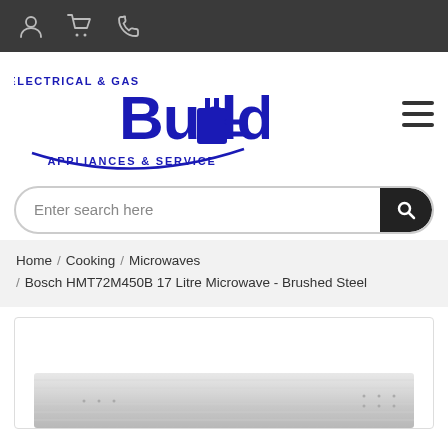Navigation bar with user, cart, and phone icons
[Figure (logo): Budd Electrical & Gas Appliances & Service logo with plug graphic, blue text on white background]
Enter search here
Home / Cooking / Microwaves / Bosch HMT72M450B 17 Litre Microwave - Brushed Steel
[Figure (photo): Bottom portion of product image showing Bosch HMT72M450B 17 Litre Microwave in brushed steel finish]